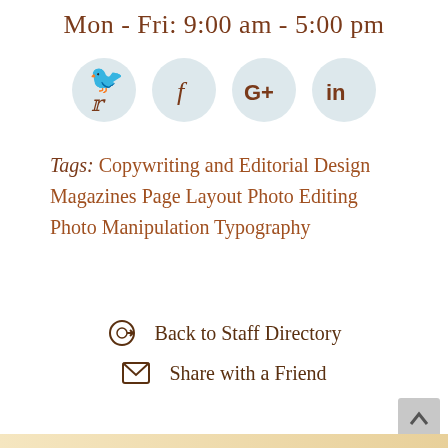Mon - Fri: 9:00 am - 5:00 pm
[Figure (illustration): Four social media icons in light blue circles: Twitter (bird), Facebook (f), Google+ (G+), LinkedIn (in)]
Tags: Copywriting and Editorial Design Magazines Page Layout Photo Editing Photo Manipulation Typography
Back to Staff Directory
Share with a Friend